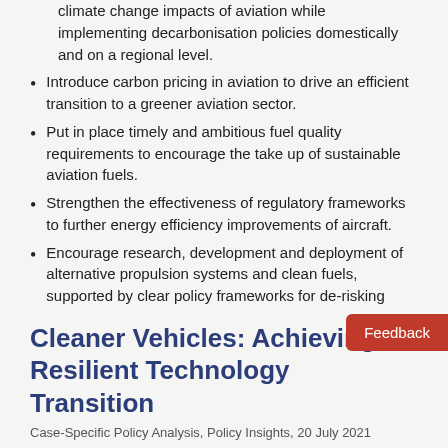climate change impacts of aviation while implementing decarbonisation policies domestically and on a regional level.
Introduce carbon pricing in aviation to drive an efficient transition to a greener aviation sector.
Put in place timely and ambitious fuel quality requirements to encourage the take up of sustainable aviation fuels.
Strengthen the effectiveness of regulatory frameworks to further energy efficiency improvements of aircraft.
Encourage research, development and deployment of alternative propulsion systems and clean fuels, supported by clear policy frameworks for de-risking industry investments to ramp up fuel production.
Factor in the non-CO2 climate impacts of air transport when designing decarbonisation policies.
Cleaner Vehicles: Achieving a Resilient Technology Transition
Case-Specific Policy Analysis, Policy Insights, 20 July 2021